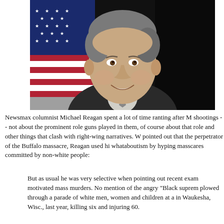[Figure (photo): Official portrait photo of Michael Reagan, a middle-aged man smiling, wearing a dark suit and light tie, with an American flag visible in the background against a dark backdrop.]
Newsmax columnist Michael Reagan spent a lot of time ranting after M shootings -- not about the prominent role guns played in them, of course about that role and other things that clash with right-wing narratives. W pointed out that the perpetrator of the Buffalo massacre, Reagan used h whataboutism by hyping masscares committed by non-white people:
But as usual he was very selective when pointing out recent exam motivated mass murders. No mention of the angry "Black suprem plowed through a parade of white men, women and children at a in Waukesha, Wisc., last year, killing six and injuring 60.